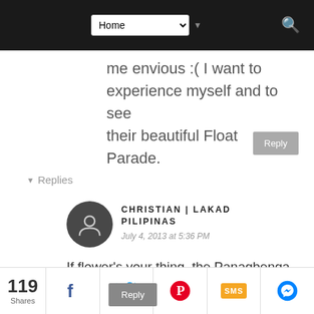Home [dropdown navigation]
me envious :( I want to experience myself and to see their beautiful Float Parade.
▾ Replies
CHRISTIAN | LAKAD PILIPINAS
July 4, 2013 at 5:36 PM
If flower's your thing, the Panagbenga Festival is indeed the one for you :)
119 Shares